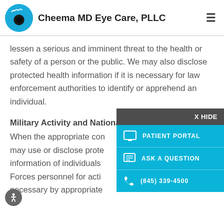Cheema MD Eye Care, PLLC
lessen a serious and imminent threat to the health or safety of a person or the public. We may also disclose protected health information if it is necessary for law enforcement authorities to identify or apprehend an individual.
Military Activity and National Security –
When the appropriate conditions apply, we may use or disclose protected health information of individuals who are Armed Forces personnel for activities deemed necessary by appropriate
[Figure (screenshot): Overlay panel with X HIDE button, PATIENT PORTAL link, ASK A QUESTION link, and phone number (845) 339-4500]